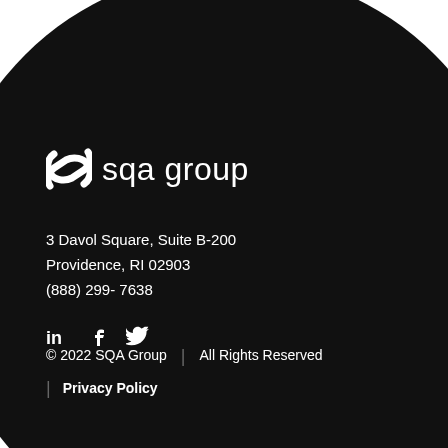[Figure (logo): SQA Group logo with stylized S icon and 'sqa group' wordmark in white on dark background]
3 Davol Square, Suite B-200
Providence, RI 02903
(888) 299- 7638
[Figure (illustration): Social media icons: LinkedIn, Facebook, Twitter in white]
© 2022 SQA Group  |  All Rights Reserved  |  Privacy Policy